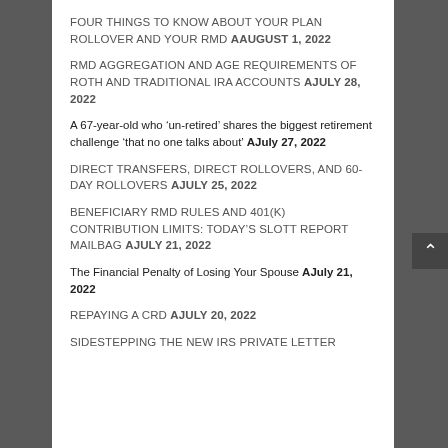FOUR THINGS TO KNOW ABOUT YOUR PLAN ROLLOVER AND YOUR RMD AAugust 1, 2022
RMD AGGREGATION AND AGE REQUIREMENTS OF ROTH AND TRADITIONAL IRA ACCOUNTS AJuly 28, 2022
A 67-year-old who ‘un-retired’ shares the biggest retirement challenge ‘that no one talks about’ AJuly 27, 2022
DIRECT TRANSFERS, DIRECT ROLLOVERS, AND 60-DAY ROLLOVERS AJuly 25, 2022
BENEFICIARY RMD RULES AND 401(K) CONTRIBUTION LIMITS: TODAY’S SLOTT REPORT MAILBAG AJuly 21, 2022
The Financial Penalty of Losing Your Spouse AJuly 21, 2022
REPAYING A CRD AJuly 20, 2022
SIDESTEPPING THE NEW IRS PRIVATE LETTER